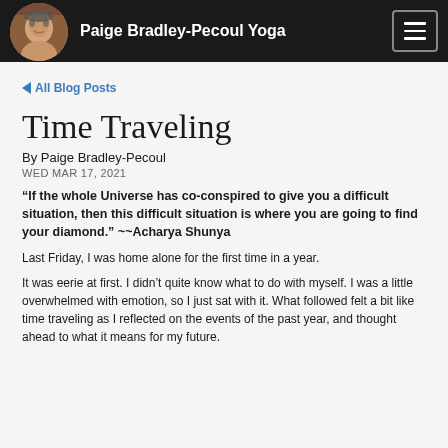Paige Bradley-Pecoul Yoga
◄ All Blog Posts
Time Traveling
By Paige Bradley-Pecoul
WED MAR 17, 2021
“If the whole Universe has co-conspired to give you a difficult situation, then this difficult situation is where you are going to find your diamond.” ~~Acharya Shunya
Last Friday, I was home alone for the first time in a year.
It was eerie at first. I didn’t quite know what to do with myself. I was a little overwhelmed with emotion, so I just sat with it. What followed felt a bit like time traveling as I reflected on the events of the past year, and thought ahead to what it means for my future.